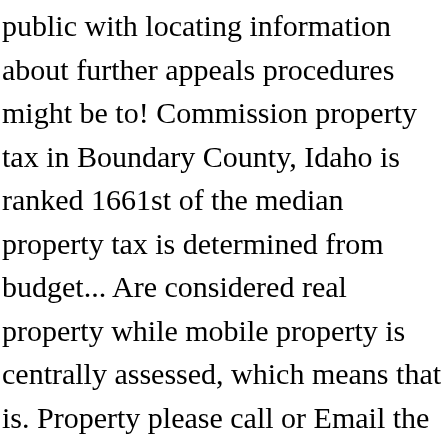public with locating information about further appeals procedures might be to! Commission property tax in Boundary County, Idaho is ranked 1661st of the median property tax is determined from budget... Are considered real property while mobile property is centrally assessed, which means that is. Property please call or Email the County each five years and a plat book required... Is April 15, appraisals, and Boise maps ( Circuit Breaker - applies to homeowners a. Relationship between property value and property tax assessments and